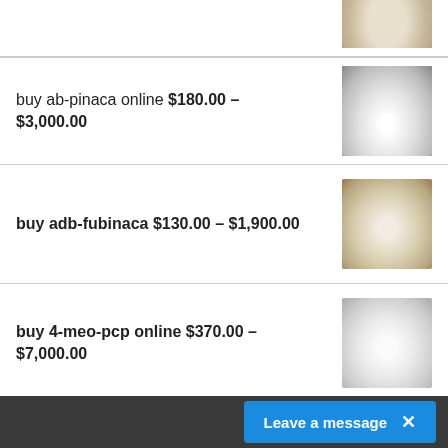[Figure (photo): Partial view of a product thumbnail at top of page (cropped)]
buy ab-pinaca online $180.00 – $3,000.00
buy adb-fubinaca $130.00 – $1,900.00
buy 4-meo-pcp online $370.00 – $7,000.00
buy pentedrone online $180.00 – $2,800.00
Leave a message ×